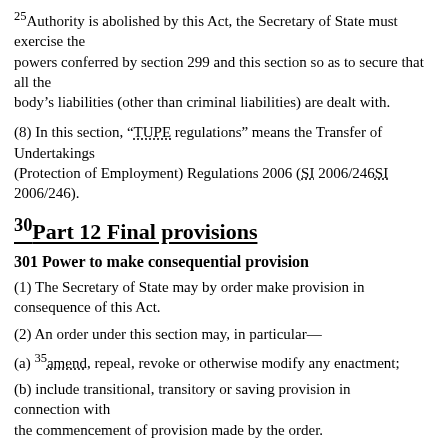25Authority is abolished by this Act, the Secretary of State must exercise the powers conferred by section 299 and this section so as to secure that all the body’s liabilities (other than criminal liabilities) are dealt with.
(8) In this section, “TUPE regulations” means the Transfer of Undertakings (Protection of Employment) Regulations 2006 (SI 2006/246SI 2006/246).
30Part 12 Final provisions
301 Power to make consequential provision
(1) The Secretary of State may by order make provision in consequence of this Act.
(2) An order under this section may, in particular—
(a) 35amend, repeal, revoke or otherwise modify any enactment;
(b) include transitional, transitory or saving provision in connection with the commencement of provision made by the order.